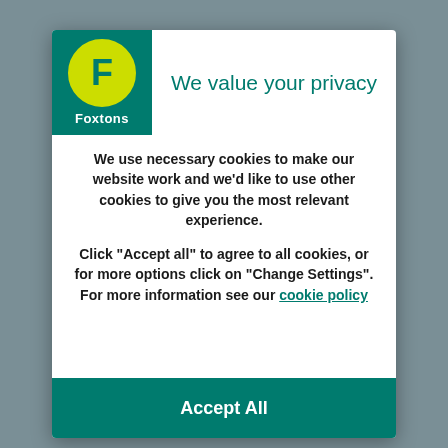[Figure (logo): Foxtons logo: green square background with yellow circular badge containing 'F' letter and 'Foxtons' text in white below]
We value your privacy
We use necessary cookies to make our website work and we'd like to use other cookies to give you the most relevant experience.
Click “Accept all” to agree to all cookies, or for more options click on “Change Settings”. For more information see our cookie policy